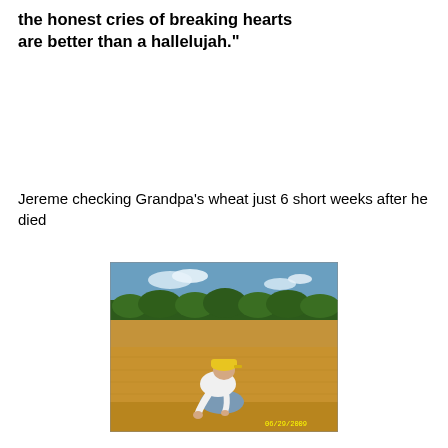the honest cries of breaking hearts are better than a hallelujah."
Jereme checking Grandpa's wheat just 6 short weeks after he died
[Figure (photo): A person wearing a yellow cap and white t-shirt crouching down in a golden wheat field, examining the wheat. Trees and blue sky visible in the background. Date stamp 06/29/2009 visible in lower right corner.]